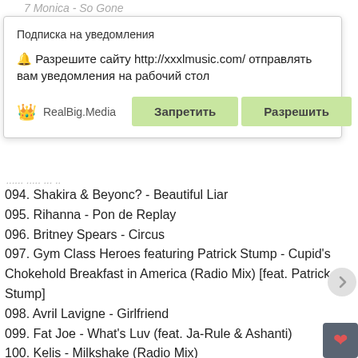7 Monica - So Gone
Подписка на уведомления
🔔 Разрешите сайту http://xxxlmusic.com/ отправлять вам уведомления на рабочий стол
👑 RealBig.Media   Запретить   Разрешить
... ... ... ... ...
094. Shakira & Beyonc? - Beautiful Liar
095. Rihanna - Pon de Replay
096. Britney Spears - Circus
097. Gym Class Heroes featuring Patrick Stump - Cupid's Chokehold Breakfast in America (Radio Mix) [feat. Patrick Stump]
098. Avril Lavigne - Girlfriend
099. Fat Joe - What's Luv (feat. Ja-Rule & Ashanti)
100. Kelis - Milkshake (Radio Mix)
101. Mike Posner - Cooler Than Me (Single Mix)
102. Corinne Bailey Rae - Put Your Records On
103. Gavin DeGraw - Chariot